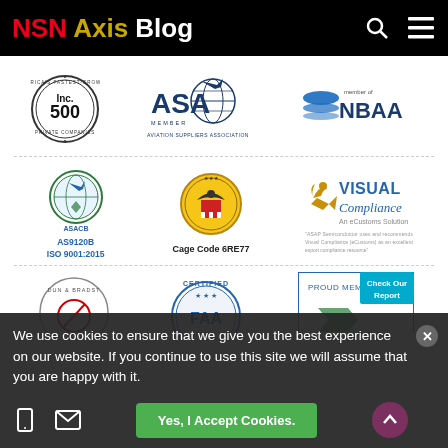NSN Axis Blog
[Figure (logo): Inc. 500 America's Fastest-Growing Private Companies seal logo]
[Figure (logo): ASA Member - Aviation Suppliers Association logo]
[Figure (logo): Member of NBAA logo]
[Figure (logo): ASACB AS9120B ISO 9001:2015 certification logo]
[Figure (logo): Cage Code 6RE77 FAA seal logo]
[Figure (logo): Visual Compliance An eCustoms Solution logo]
[Figure (logo): Dun & Bradstreet DUNS certification partial logo]
[Figure (logo): FAA Certified partial logo]
[Figure (logo): Proud Member with Check Our Report badge partial logo]
We use cookies to ensure that we give you the best experience on our website. If you continue to use this site we will assume that you are happy with it.
Yes, I Accept Cookies.